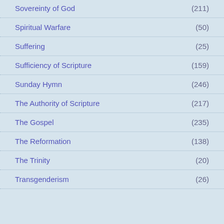Sovereinty of God (211)
Spiritual Warfare (50)
Suffering (25)
Sufficiency of Scripture (159)
Sunday Hymn (246)
The Authority of Scripture (217)
The Gospel (235)
The Reformation (138)
The Trinity (20)
Transgenderism (26)